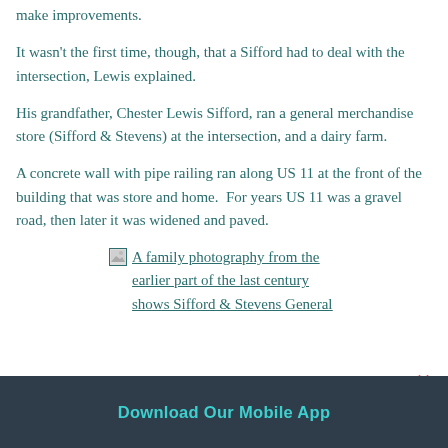make improvements.
It wasn't the first time, though, that a Sifford had to deal with the intersection, Lewis explained.
His grandfather, Chester Lewis Sifford, ran a general merchandise store (Sifford & Stevens) at the intersection, and a dairy farm.
A concrete wall with pipe railing ran along US 11 at the front of the building that was store and home.  For years US 11 was a gravel road, then later it was widened and paved.
[Figure (photo): A family photography from the earlier part of the last century shows Sifford & Stevens General]
Download Our Mobile App